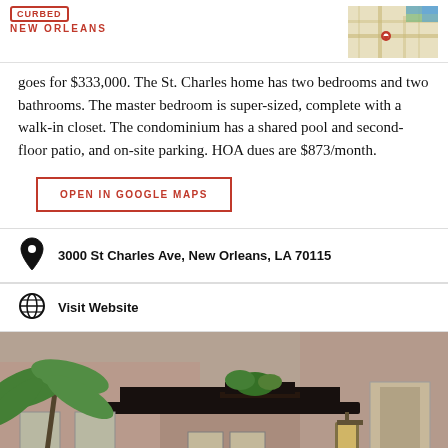CURBED NEW ORLEANS | MAP VIEW
goes for $333,000. The St. Charles home has two bedrooms and two bathrooms. The master bedroom is super-sized, complete with a walk-in closet. The condominium has a shared pool and second-floor patio, and on-site parking. HOA dues are $873/month.
OPEN IN GOOGLE MAPS
3000 St Charles Ave, New Orleans, LA 70115
Visit Website
[Figure (photo): Courtyard view of a New Orleans building with balcony, palm trees, and a gas lamp lantern on the wall]